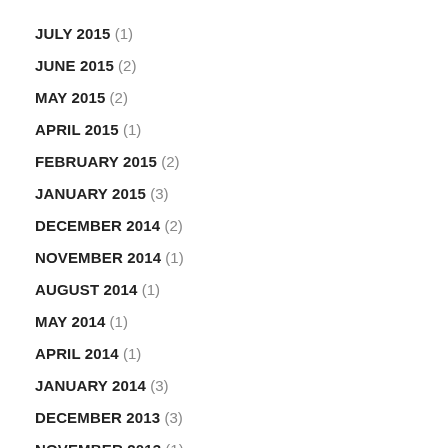JULY 2015 (1)
JUNE 2015 (2)
MAY 2015 (2)
APRIL 2015 (1)
FEBRUARY 2015 (2)
JANUARY 2015 (3)
DECEMBER 2014 (2)
NOVEMBER 2014 (1)
AUGUST 2014 (1)
MAY 2014 (1)
APRIL 2014 (1)
JANUARY 2014 (3)
DECEMBER 2013 (3)
NOVEMBER 2013 (1)